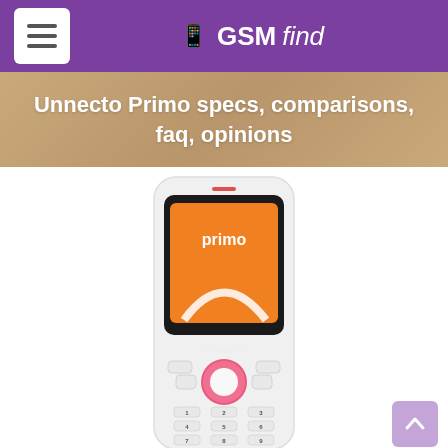GSMfind
Unnecto Primo specs, comparisons, faq, opinions
[Figure (photo): Front view of the Unnecto Primo mobile phone — white body with pink accent ring around navigation button, orange screen showing 'primo' branding and Unnecto logo, numeric keypad below]
Released 2012